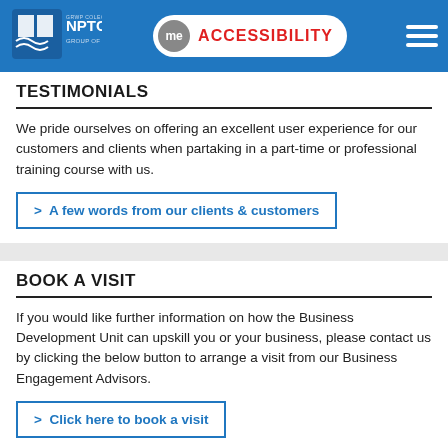NPTC Group of Colleges — me ACCESSIBILITY
TESTIMONIALS
We pride ourselves on offering an excellent user experience for our customers and clients when partaking in a part-time or professional training course with us.
> A few words from our clients & customers
BOOK A VISIT
If you would like further information on how the Business Development Unit can upskill you or your business, please contact us by clicking the below button to arrange a visit from our Business Engagement Advisors.
> Click here to book a visit